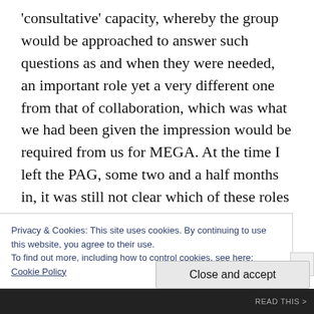'consultative' capacity, whereby the group would be approached to answer such questions as and when they were needed, an important role yet a very different one from that of collaboration, which was what we had been given the impression would be required from us for MEGA. At the time I left the PAG, some two and a half months in, it was still not clear which of these roles we were supposed to fulfil. We had certainly been told we would be collaborating, more specifically we were to be
Privacy & Cookies: This site uses cookies. By continuing to use this website, you agree to their use.
To find out more, including how to control cookies, see here:
Cookie Policy
Close and accept